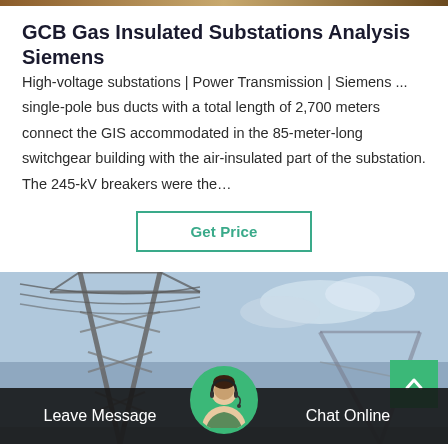GCB Gas Insulated Substations Analysis Siemens
High-voltage substations | Power Transmission | Siemens ... single-pole bus ducts with a total length of 2,700 meters connect the GIS accommodated in the 85-meter-long switchgear building with the air-insulated part of the substation. The 245-kV breakers were the…
Get Price
[Figure (photo): Electrical power transmission tower against a cloudy sky background]
Leave Message
Chat Online